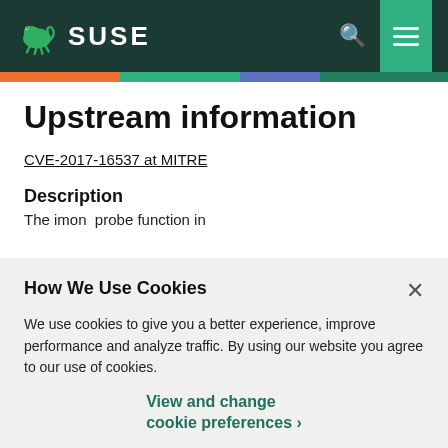SUSE
Upstream information
CVE-2017-16537 at MITRE
Description
The imon  probe function in
How We Use Cookies
We use cookies to give you a better experience, improve performance and analyze traffic. By using our website you agree to our use of cookies.
View and change cookie preferences >